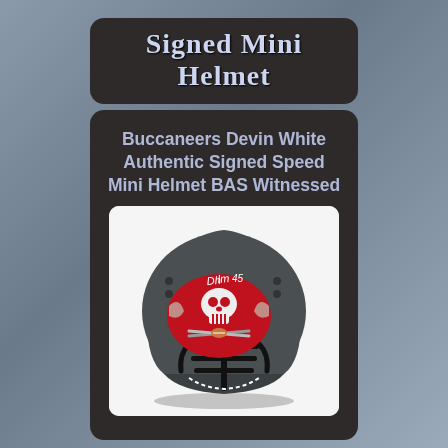Signed Mini Helmet
Buccaneers Devin White Authentic Signed Speed Mini Helmet BAS Witnessed
[Figure (photo): Tampa Bay Buccaneers signed mini football helmet with Devin White autograph (#45), featuring the Buccaneers skull and swords logo on a dark grey/pewter helmet with black facemask.]